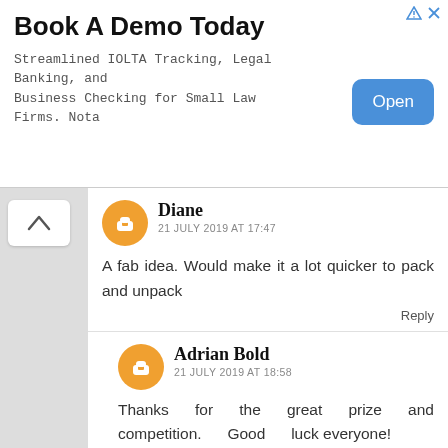[Figure (screenshot): Advertisement banner: 'Book A Demo Today' for IOLTA Tracking, Legal Banking, and Business Checking for Small Law Firms. Nota. With an 'Open' button.]
Diane
21 JULY 2019 AT 17:47
A fab idea. Would make it a lot quicker to pack and unpack
Reply
Adrian Bold
21 JULY 2019 AT 18:58
Thanks for the great prize and competition. Good luck everyone!
Reply
leebing76